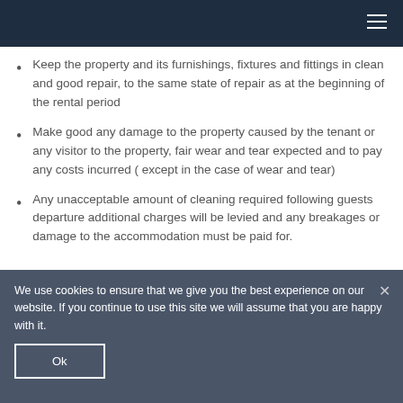Keep the property and its furnishings, fixtures and fittings in clean and good repair, to the same state of repair as at the beginning of the rental period
Make good any damage to the property caused by the tenant or any visitor to the property, fair wear and tear expected and to pay any costs incurred ( except in the case of wear and tear)
Any unacceptable amount of cleaning required following guests departure additional charges will be levied and any breakages or damage to the accommodation must be paid for.
We use cookies to ensure that we give you the best experience on our website. If you continue to use this site we will assume that you are happy with it.